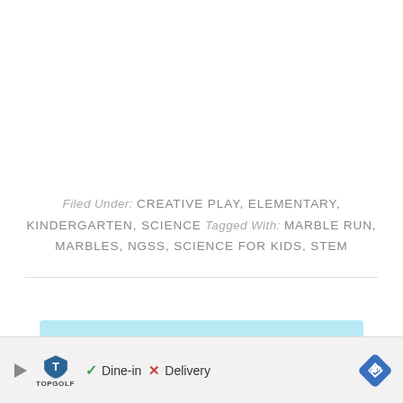Filed Under: CREATIVE PLAY, ELEMENTARY, KINDERGARTEN, SCIENCE Tagged With: MARBLE RUN, MARBLES, NGSS, SCIENCE FOR KIDS, STEM
Sign up for our FREE
[Figure (screenshot): Advertisement bar showing Topgolf logo with play button icon, checkmark for Dine-in, X for Delivery, and a navigation/directions diamond icon on the right.]